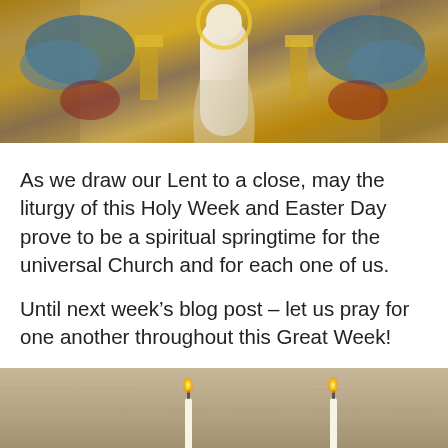[Figure (photo): A religious mosaic artwork depicting a central figure (Christ) in white robes, flanked by golden and colorful mosaic decorations including blue angels on the sides and ornate Byzantine-style patterns.]
As we draw our Lent to a close, may the liturgy of this Holy Week and Easter Day prove to be a spiritual springtime for the universal Church and for each one of us.
Until next week's blog post – let us pray for one another throughout this Great Week!
[Figure (photo): A close-up photo of two lit candles against a beige/linen textured background, with soft warm light from the flames at the top.]